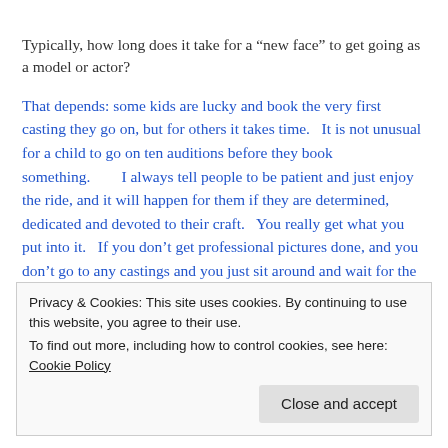Typically, how long does it take for a “new face” to get going as a model or actor?
That depends: some kids are lucky and book the very first casting they go on, but for others it takes time.   It is not unusual for a child to go on ten auditions before they book something.        I always tell people to be patient and just enjoy the ride, and it will happen for them if they are determined, dedicated and devoted to their craft.   You really get what you put into it.   If you don’t get professional pictures done, and you don’t go to any castings and you just sit around and wait for the jobs to come to you, you won’t be
Privacy & Cookies: This site uses cookies. By continuing to use this website, you agree to their use.
To find out more, including how to control cookies, see here: Cookie Policy
Close and accept